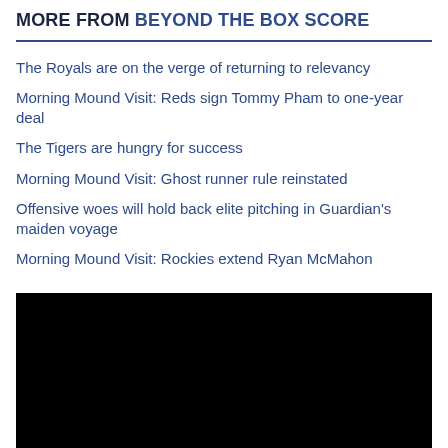MORE FROM BEYOND THE BOX SCORE
The Royals are on the verge of returning to relevancy
Morning Mound Visit: Reds sign Tommy Pham to one-year deal
The Tigers are hungry for success
Morning Mound Visit: Ghost runner rule reinstated
Offensive woes will hold back elite pitching in Guardian's maiden voyage
Morning Mound Visit: Rockies extend Ryan McMahon
[Figure (photo): Black image block at the bottom of the page]